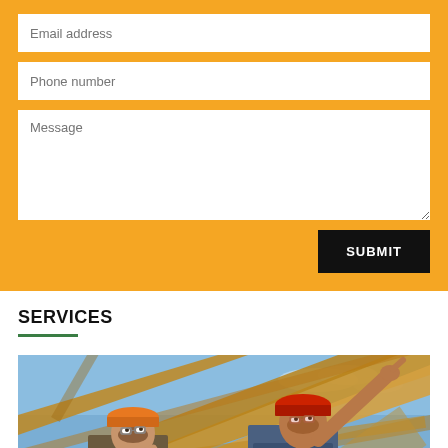[Figure (screenshot): Contact form with orange background containing Email address field, Phone number field, Message textarea, and a black SUBMIT button]
SERVICES
[Figure (photo): Two construction workers wearing hard hats (one orange, one red) looking up at wooden roof framing structure against a blue sky]